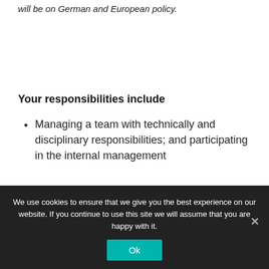will be on German and European policy.
Your responsibilities include
Managing a team with technically and disciplinary responsibilities; and participating in the internal management
We use cookies to ensure that we give you the best experience on our website. If you continue to use this site we will assume that you are happy with it.